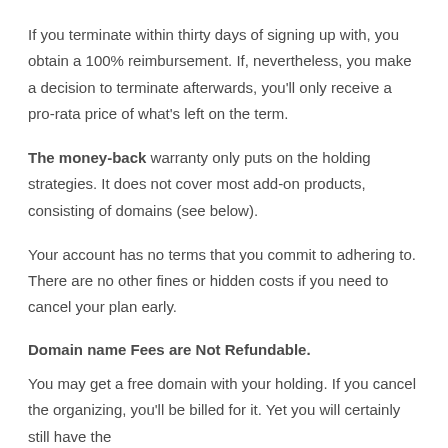If you terminate within thirty days of signing up with, you obtain a 100% reimbursement. If, nevertheless, you make a decision to terminate afterwards, you'll only receive a pro-rata price of what's left on the term.
The money-back warranty only puts on the holding strategies. It does not cover most add-on products, consisting of domains (see below).
Your account has no terms that you commit to adhering to. There are no other fines or hidden costs if you need to cancel your plan early.
Domain name Fees are Not Refundable.
You may get a free domain with your holding. If you cancel the organizing, you'll be billed for it. Yet you will certainly still have the domain, you'll only have to pay for it as you use it or move it.